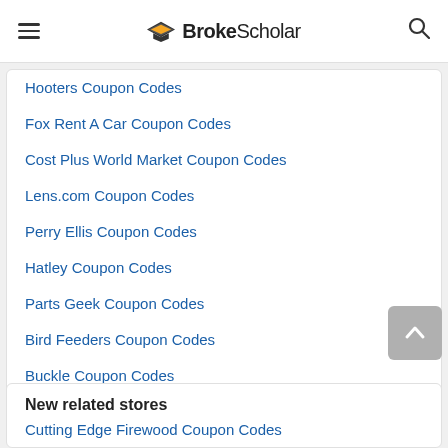BrokeScholar
Hooters Coupon Codes
Fox Rent A Car Coupon Codes
Cost Plus World Market Coupon Codes
Lens.com Coupon Codes
Perry Ellis Coupon Codes
Hatley Coupon Codes
Parts Geek Coupon Codes
Bird Feeders Coupon Codes
Buckle Coupon Codes
CUBE Coupon Codes
New related stores
Cutting Edge Firewood Coupon Codes